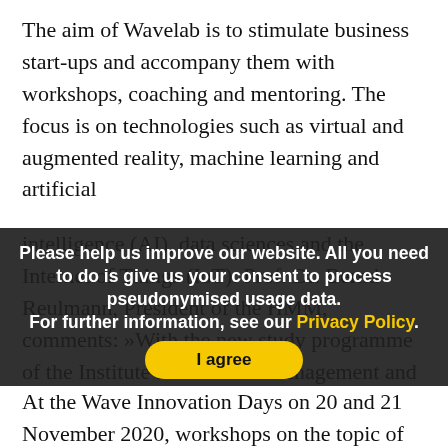The aim of Wavelab is to stimulate business start-ups and accompany them with workshops, coaching and mentoring. The focus is on technologies such as virtual and augmented reality, machine learning and artificial intelligence (AI), data sciences and the Internet of Things (IoT). Prof. Dr. Bernd Reulmann, President of the HMM, comments: »With the new study programme of the Institute for Cultural Management and Media, we are the only German university of arts to already offer a cultural management course ... in cultural entrepreneurship. Several successful start-ups have ... to continue along this path with Wavelab to become the hub of cultural entrepreneurship.»
[Figure (screenshot): Cookie consent modal overlay on website. White bold text on dark background reads: 'Please help us improve our website. All you need to do is give us your consent to process pseudonymised usage data. For further information, see our Privacy Policy.' (Privacy Policy in yellow). A yellow rounded button labeled 'I agree'. Text: 'You can revoke your consent any time by opting out in our Privacy Policy.' A dark rounded button with red border labeled 'Decline'.]
At the Wave Innovation Days on 20 and 21 November 2020, workshops on the topic of »How can we succeed in ...